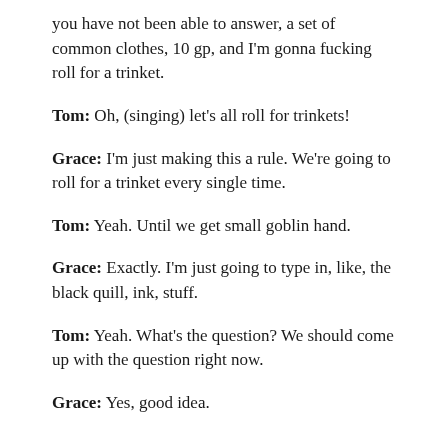you have not been able to answer, a set of common clothes, 10 gp, and I'm gonna fucking roll for a trinket.
Tom: Oh, (singing) let's all roll for trinkets!
Grace: I'm just making this a rule. We're going to roll for a trinket every single time.
Tom: Yeah. Until we get small goblin hand.
Grace: Exactly. I'm just going to type in, like, the black quill, ink, stuff.
Tom: Yeah. What's the question? We should come up with the question right now.
Grace: Yes, good idea.